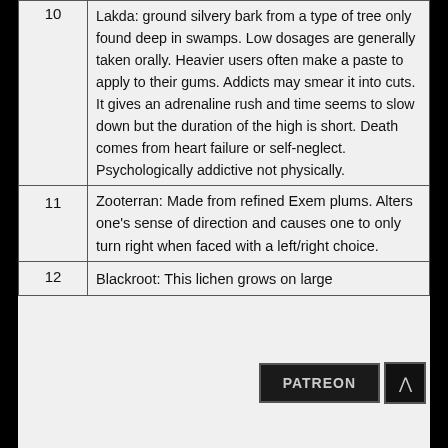| # | Description |
| --- | --- |
| 10 | Lakda: ground silvery bark from a type of tree only found deep in swamps. Low dosages are generally taken orally. Heavier users often make a paste to apply to their gums. Addicts may smear it into cuts. It gives an adrenaline rush and time seems to slow down but the duration of the high is short. Death comes from heart failure or self-neglect. Psychologically addictive not physically. |
| 11 | Zooterran: Made from refined Exem plums. Alters one's sense of direction and causes one to only turn right when faced with a left/right choice. |
| 12 | Blackroot: This lichen grows on large |